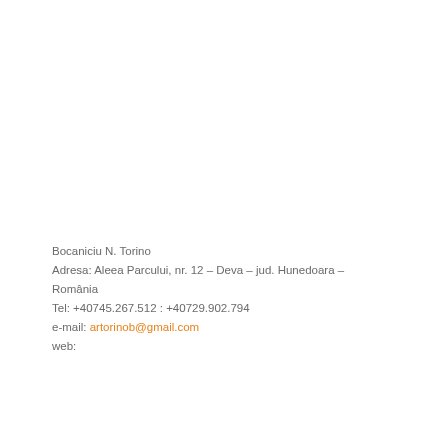Bocaniciu N. Torino
Adresa: Aleea Parcului, nr. 12 – Deva – jud. Hunedoara – România
Tel: +40745.267.512 : +40729.902.794
e-mail: artorinob@gmail.com
web: